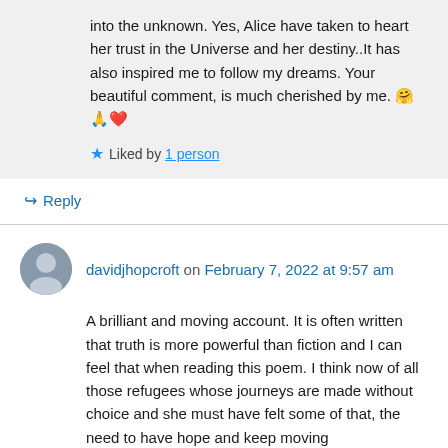into the unknown. Yes, Alice have taken to heart her trust in the Universe and her destiny..It has also inspired me to follow my dreams. Your beautiful comment, is much cherished by me. 🤗🙏❤️
★ Liked by 1 person
↪ Reply
davidjhopcroft on February 7, 2022 at 9:57 am
A brilliant and moving account. It is often written that truth is more powerful than fiction and I can feel that when reading this poem. I think now of all those refugees whose journeys are made without choice and she must have felt some of that, the need to have hope and keep moving